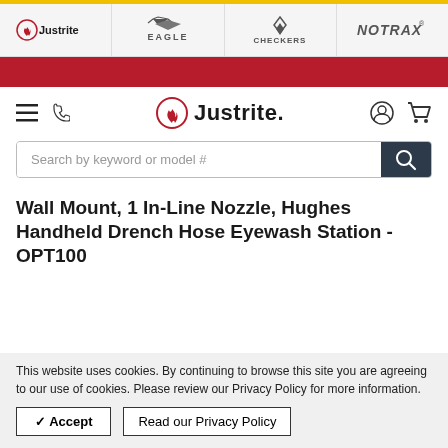[Figure (screenshot): Brand navigation bar with logos: Justrite, Eagle, Checkers, Notrax]
[Figure (screenshot): Red decorative banner strip]
[Figure (screenshot): Justrite website navigation bar with hamburger menu, phone icon, Justrite logo, user account icon, and shopping cart icon]
[Figure (screenshot): Search bar with placeholder text 'Search by keyword or model #' and dark search button with magnifying glass icon]
Wall Mount, 1 In-Line Nozzle, Hughes Handheld Drench Hose Eyewash Station - OPT100
This website uses cookies. By continuing to browse this site you are agreeing to our use of cookies. Please review our Privacy Policy for more information.